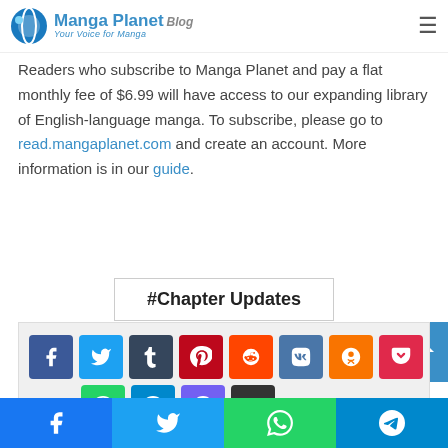Manga Planet Blog — Your Voice for Manga
support artists and the industry. Manga Planet pushes for manga through a subscription-based service.
Readers who subscribe to Manga Planet and pay a flat monthly fee of $6.99 will have access to our expanding library of English-language manga. To subscribe, please go to read.mangaplanet.com and create an account. More information is in our guide.
#Chapter Updates
[Figure (other): Social media share buttons: Facebook, Twitter, Tumblr, Pinterest, Reddit, VK, OK, Pocket, WhatsApp, Telegram, Viber, Email]
Bottom share bar: Facebook, Twitter, WhatsApp, Telegram